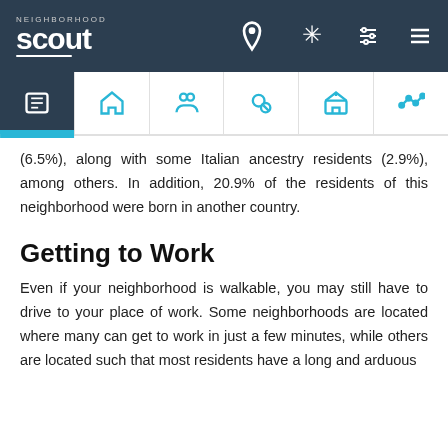[Figure (screenshot): NeighborhoodScout top navigation bar with logo and icons]
[Figure (screenshot): Navigation tab bar with icons for overview, home, people, crime, schools, and trends. First tab (overview) is active/highlighted.]
(6.5%), along with some Italian ancestry residents (2.9%), among others. In addition, 20.9% of the residents of this neighborhood were born in another country.
Getting to Work
Even if your neighborhood is walkable, you may still have to drive to your place of work. Some neighborhoods are located where many can get to work in just a few minutes, while others are located such that most residents have a long and arduous